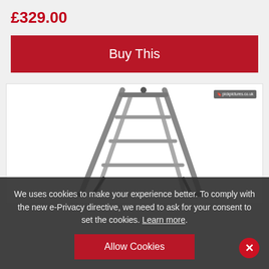£329.00
Buy This
[Figure (photo): A metal ladder/shelving unit product image on white background with a small watermark logo in top right corner]
We uses cookies to make your experience better. To comply with the new e-Privacy directive, we need to ask for your consent to set the cookies. Learn more.
Allow Cookies